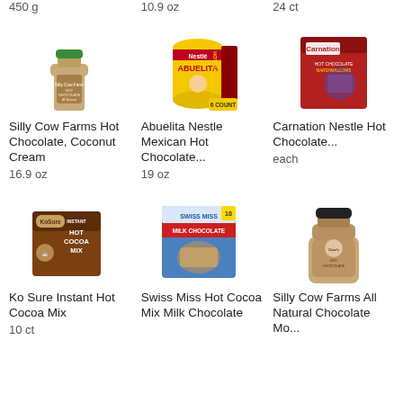450 g
10.9 oz
24 ct
[Figure (photo): Silly Cow Farms Hot Chocolate Coconut Cream bottle with green cap]
Silly Cow Farms Hot Chocolate, Coconut Cream
16.9 oz
[Figure (photo): Abuelita Nestle Mexican Hot Chocolate yellow tin with red banner, 6 count]
Abuelita Nestle Mexican Hot Chocolate... 19 oz
[Figure (photo): Carnation Nestle Hot Chocolate box]
Carnation Nestle Hot Chocolate... each
[Figure (photo): Ko Sure Instant Hot Cocoa Mix brown box]
Ko Sure Instant Hot Cocoa Mix
10 ct
[Figure (photo): Swiss Miss Hot Cocoa Mix Milk Chocolate box, 10 count]
Swiss Miss Hot Cocoa Mix Milk Chocolate
[Figure (photo): Silly Cow Farms All Natural Chocolate Mo... glass bottle]
Silly Cow Farms All Natural Chocolate Mo...